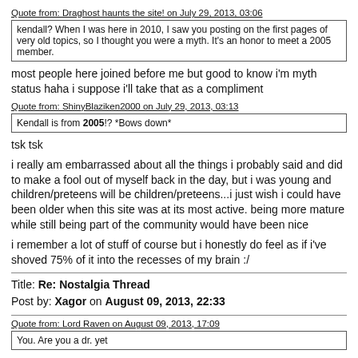Quote from: Draghost haunts the site! on July 29, 2013, 03:06
kendall? When I was here in 2010, I saw you posting on the first pages of very old topics, so I thought you were a myth. It's an honor to meet a 2005 member.
most people here joined before me but good to know i'm myth status haha i suppose i'll take that as a compliment
Quote from: ShinyBlaziken2000 on July 29, 2013, 03:13
Kendall is from 2005!? *Bows down*
tsk tsk
i really am embarrassed about all the things i probably said and did to make a fool out of myself back in the day, but i was young and children/preteens will be children/preteens...i just wish i could have been older when this site was at its most active. being more mature while still being part of the community would have been nice
i remember a lot of stuff of course but i honestly do feel as if i've shoved 75% of it into the recesses of my brain :/
Title: Re: Nostalgia Thread
Post by: Xagor on August 09, 2013, 22:33
Quote from: Lord Raven on August 09, 2013, 17:09
You.  Are you a dr. yet